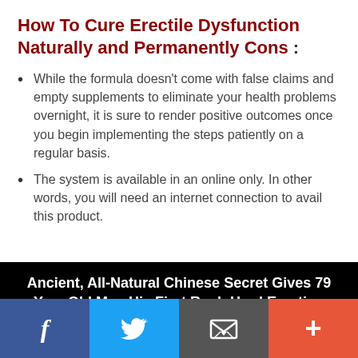How To Cure Erectile Dysfunction Naturally and Permanently Cons :
While the formula doesn't come with false claims and empty supplements to eliminate your health problems overnight, it is sure to render positive outcomes once you begin implementing the steps patiently on a regular basis.
The system is available in an online only. In other words, you will need an internet connection to avail this product.
[Figure (infographic): Black banner advertisement with white bold text reading: Ancient, All-Natural Chinese Secret Gives 79 Year Old Man His First Rock-Hard Erection Since 1983...]
Charlene and I would be lying in bed together, and I could tell she was in the mood to “fool around...” so I’d pretend to yawn...
Social share bar: Facebook, Twitter, Email, Plus